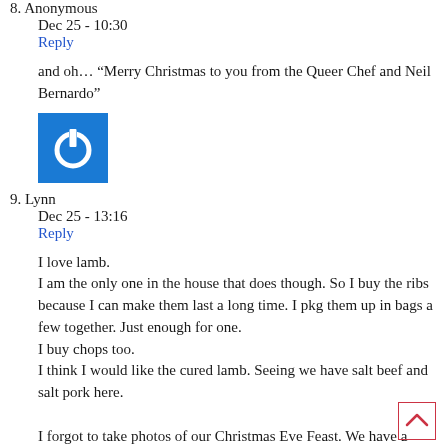8. Anonymous
Dec 25 - 10:30
Reply
and oh… “Merry Christmas to you from the Queer Chef and Neil Bernardo”
[Figure (logo): Blue square with white power button icon]
9. Lynn
Dec 25 - 13:16
Reply
I love lamb.
I am the only one in the house that does though. So I buy the ribs because I can make them last a long time. I pkg them up in bags a few together. Just enough for one.
I buy chops too.
I think I would like the cured lamb. Seeing we have salt beef and salt pork here.

I forgot to take photos of our Christmas Eve Feast. We have a neighbourhood gathering at our home ever Christmas Eve. I make a buffet. I Change the menu year to year. This year